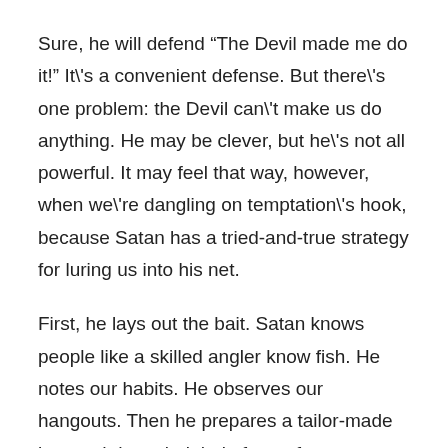Sure, he will defend “The Devil made me do it!” It\'s a convenient defense. But there\'s one problem: the Devil can\'t make us do anything. He may be clever, but he\'s not all powerful. It may feel that way, however, when we\'re dangling on temptation\'s hook, because Satan has a tried-and-true strategy for luring us into his net.
First, he lays out the bait. Satan knows people like a skilled angler know fish. He notes our habits. He observes our hangouts. Then he prepares a tailor-made lure and drops it right in front of our noses.
Then comes the appeal. He can\'t make us bite, but he